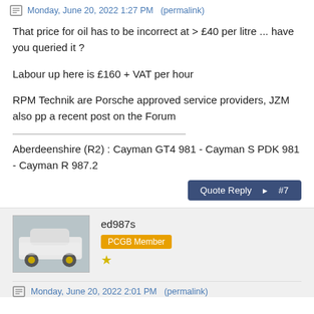Monday, June 20, 2022 1:27 PM  (permalink)
That price for oil has to be incorrect at > £40 per litre ... have you queried it ?
Labour up here is £160 + VAT per hour
RPM Technik are Porsche approved service providers, JZM also pp a recent post on the Forum
Aberdeenshire (R2) : Cayman GT4 981 - Cayman S PDK 981 - Cayman R 987.2
Quote Reply  #7
ed987s
PCGB Member
Monday, June 20, 2022 2:01 PM  (permalink)